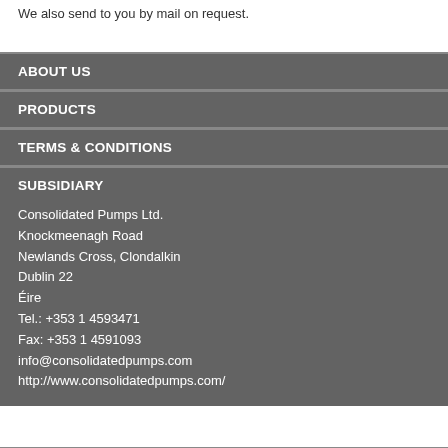We also send to you by mail on request.
ABOUT US
PRODUCTS
TERMS & CONDITIONS
SUBSIDIARY
Consolidated Pumps Ltd.
Knockmeenagh Road
Newlands Cross, Clondalkin
Dublin 22
Éire
Tel.: +353 1 4593471
Fax: +353 1 4591093
info@consolidatedpumps.com
http://www.consolidatedpumps.com/